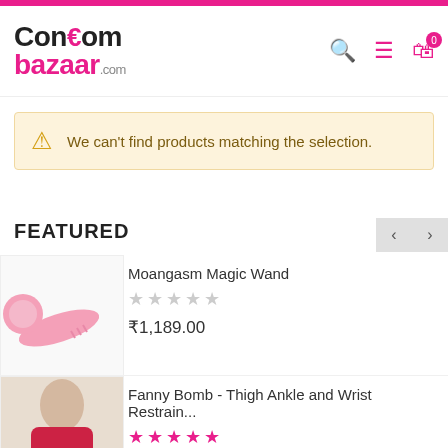CondomBazaar.com
We can't find products matching the selection.
FEATURED
Moangasm Magic Wand
₹1,189.00
Fanny Bomb - Thigh Ankle and Wrist Restrain...
₹489.00
Durex Extra Thin Condom